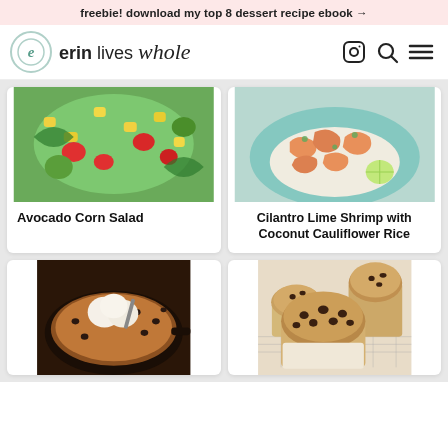freebie! download my top 8 dessert recipe ebook →
erin lives whole
[Figure (photo): Avocado Corn Salad - colorful salad with avocado, corn, tomatoes, and greens in a bowl]
Avocado Corn Salad
[Figure (photo): Cilantro Lime Shrimp with Coconut Cauliflower Rice - shrimp on a teal plate with rice]
Cilantro Lime Shrimp with Coconut Cauliflower Rice
[Figure (photo): Skillet chocolate chip cookie with ice cream scoops in a cast iron pan]
[Figure (photo): Chocolate chip muffins on a cooling rack]